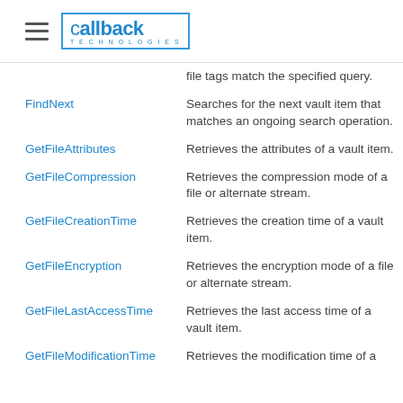callback technologies
| Method | Description |
| --- | --- |
| (partial) file tags match the specified query. |  |
| FindNext | Searches for the next vault item that matches an ongoing search operation. |
| GetFileAttributes | Retrieves the attributes of a vault item. |
| GetFileCompression | Retrieves the compression mode of a file or alternate stream. |
| GetFileCreationTime | Retrieves the creation time of a vault item. |
| GetFileEncryption | Retrieves the encryption mode of a file or alternate stream. |
| GetFileLastAccessTime | Retrieves the last access time of a vault item. |
| GetFileModificationTime | Retrieves the modification time of a |